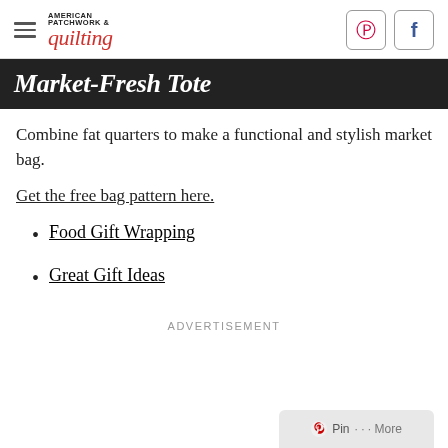American Patchwork & Quilting
Market-Fresh Tote
Combine fat quarters to make a functional and stylish market bag.
Get the free bag pattern here.
Food Gift Wrapping
Great Gift Ideas
ADVERTISEMENT